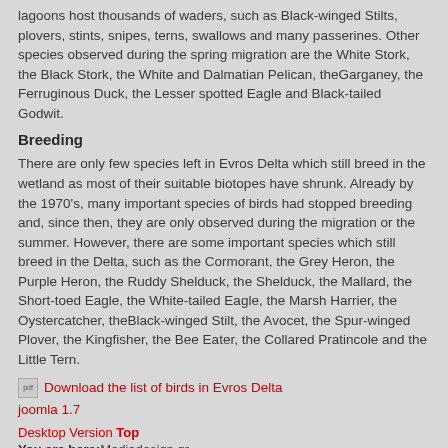lagoons host thousands of waders, such as Black-winged Stilts, plovers, stints, snipes, terns, swallows and many passerines. Other species observed during the spring migration are the White Stork, the Black Stork, the White and Dalmatian Pelican, theGarganey, the Ferruginous Duck, the Lesser spotted Eagle and Black-tailed Godwit.
Breeding
There are only few species left in Evros Delta which still breed in the wetland as most of their suitable biotopes have shrunk. Already by the 1970's, many important species of birds had stopped breeding and, since then, they are only observed during the migration or the summer. However, there are some important species which still breed in the Delta, such as the Cormorant, the Grey Heron, the Purple Heron, the Ruddy Shelduck, the Shelduck, the Mallard, the Short-toed Eagle, the White-tailed Eagle, the Marsh Harrier, the Oystercatcher, theBlack-winged Stilt, the Avocet, the Spur-winged Plover, the Kingfisher, the Bee Eater, the Collared Pratincole and the Little Tern.
Download the list of birds in Evros Delta
joomla 1.7
Desktop Version Top
You are here: Mediadesign.gr